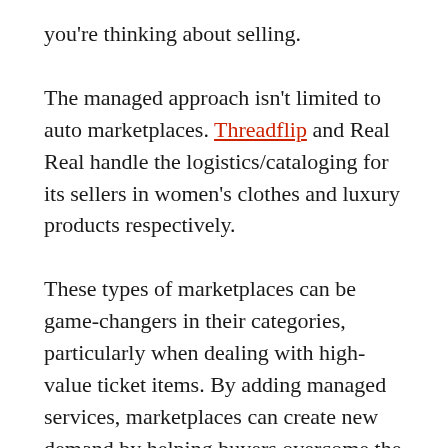you're thinking about selling.
The managed approach isn't limited to auto marketplaces. Threadflip and Real Real handle the logistics/cataloging for its sellers in women's clothes and luxury products respectively.
These types of marketplaces can be game-changers in their categories, particularly when dealing with high-value ticket items. By adding managed services, marketplaces can create new demand by helping buyers overcome the trust issues associated with most peer-to-peer marketplaces. There's a big difference in trust levels when buying a car via Beepi or Craigslist...